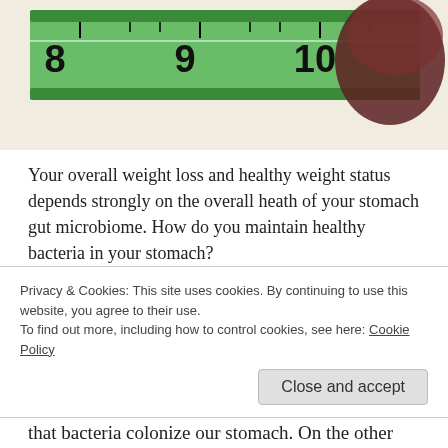[Figure (photo): A green measuring tape coiled, showing numbers 8, 9, 10, with a dark round object (possibly a walnut or apple) partially visible behind it, on a light background.]
Your overall weight loss and healthy weight status depends strongly on the overall heath of your stomach gut microbiome. How do you maintain healthy bacteria in your stomach?
What Is Your Microbiome?
Every heathy person’s body has a stomach full of a variety of bacteria. These bacteria help your body digest and process it’s food. Each of us has a
Privacy & Cookies: This site uses cookies. By continuing to use this website, you agree to their use.
To find out more, including how to control cookies, see here: Cookie Policy
that bacteria colonize our stomach. On the other